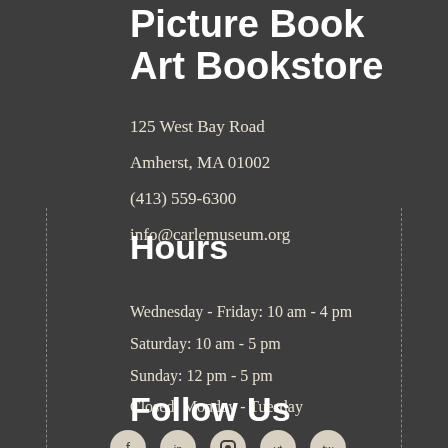Picture Book Art Bookstore
125 West Bay Road
Amherst, MA 01002
(413) 559-6300
info@carlemuseum.org
Hours
Wednesday - Friday: 10 am - 4 pm
Saturday: 10 am - 5 pm
Sunday: 12 pm - 5 pm
Closed: Monday - Tuesday
Follow Us
[Figure (illustration): Social media icons row at bottom of page]